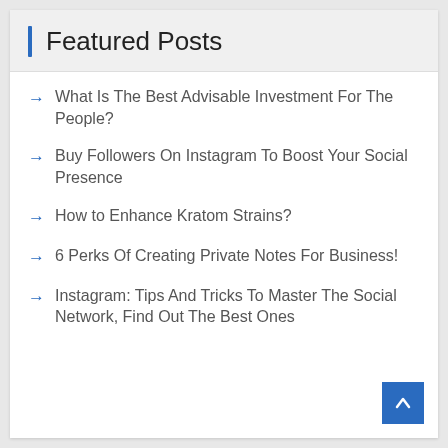Featured Posts
What Is The Best Advisable Investment For The People?
Buy Followers On Instagram To Boost Your Social Presence
How to Enhance Kratom Strains?
6 Perks Of Creating Private Notes For Business!
Instagram: Tips And Tricks To Master The Social Network, Find Out The Best Ones